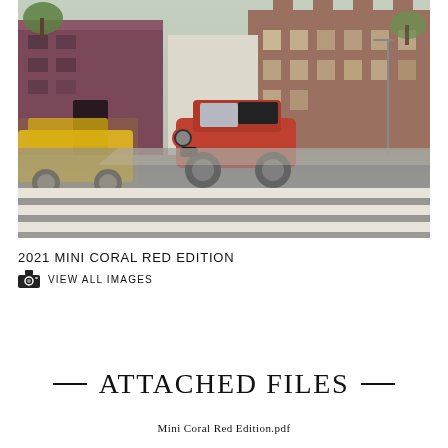[Figure (photo): A red/orange MINI Cooper driving on a city street intersection with crosswalk markings, a yellow taxi cab blurred on the left, and brick commercial buildings in the background.]
2021 MINI CORAL RED EDITION
VIEW ALL IMAGES
— ATTACHED FILES —
Mini Coral Red Edition.pdf